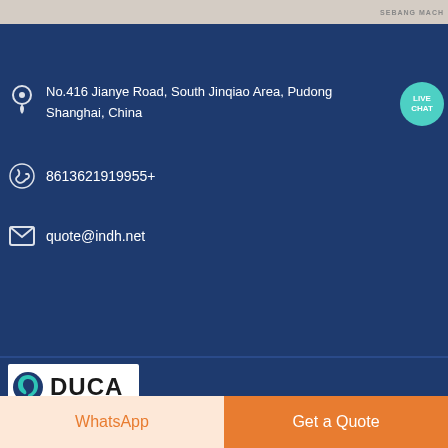[Figure (screenshot): Top strip showing partial machine/product image with 'SEBANG MACH' text visible at top right]
تبوك
No.416 Jianye Road, South Jinqiao Area, Pudong Shanghai, China
8613621919955+
quote@indh.net
[Figure (logo): DUCA logo with teal spiral icon and bold DUCA text on white background]
حقوق النشر © DUCA.2020 جميع الحقوق محفوظة.
[Figure (infographic): Social media icons: Pinterest, Google+, Instagram, Twitter, Facebook in teal circles]
WhatsApp | Get a Quote